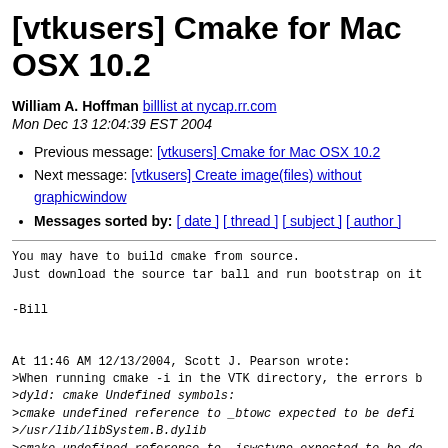[vtkusers] Cmake for Mac OSX 10.2
William A. Hoffman billlist at nycap.rr.com
Mon Dec 13 12:04:39 EST 2004
Previous message: [vtkusers] Cmake for Mac OSX 10.2
Next message: [vtkusers] Create image(files) without graphicwindow
Messages sorted by: [ date ] [ thread ] [ subject ] [ author ]
You may have to build cmake from source.
Just download the source tar ball and run bootstrap on it

-Bill


At 11:46 AM 12/13/2004, Scott J. Pearson wrote:
>When running cmake -i in the VTK directory, the errors b
>dyld: cmake Undefined symbols:
>cmake undefined reference to _btowc expected to be defi
>/usr/lib/libSystem.B.dylib
>cmake undefined reference to _iswctype expected to be de
>/usr/lib/libSystem.B.dylib